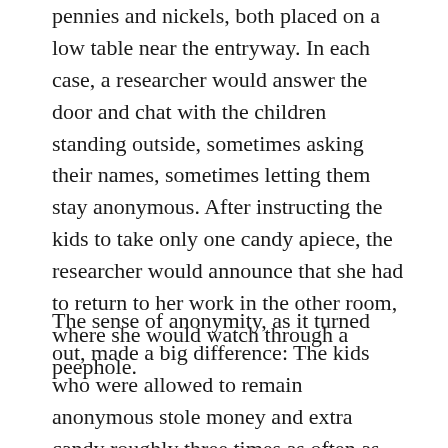pennies and nickels, both placed on a low table near the entryway. In each case, a researcher would answer the door and chat with the children standing outside, sometimes asking their names, sometimes letting them stay anonymous. After instructing the kids to take only one candy apiece, the researcher would announce that she had to return to her work in the other room, where she would watch through a peephole.
The sense of anonymity, as it turned out, made a big difference: The kids who were allowed to remain anonymous stole money and extra candy roughly three times as often as those who had given their names to the researcher. Kids who came in